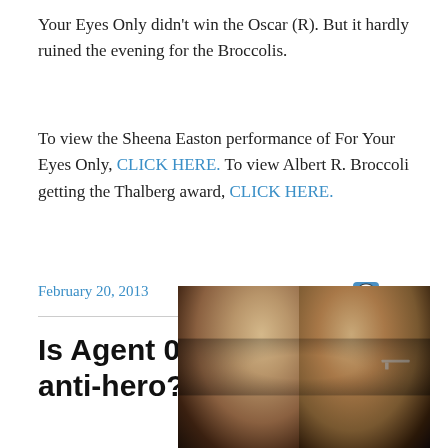Your Eyes Only didn't win the Oscar (R). But it hardly ruined the evening for the Broccolis.
To view the Sheena Easton performance of For Your Eyes Only, CLICK HERE. To view Albert R. Broccoli getting the Thalberg award, CLICK HERE.
February 20, 2013    1 Reply
Is Agent 007 a hero or an anti-hero?
[Figure (photo): Side profile photos of two men (likely James Bond / Daniel Craig) facing each other, in dark cinematic lighting]